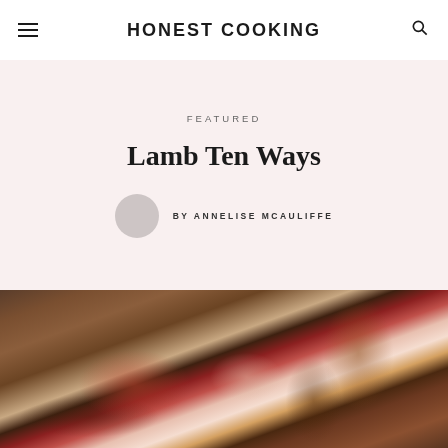HONEST COOKING
FEATURED
Lamb Ten Ways
BY ANNELISE MCAULIFFE
[Figure (photo): Grilled or roasted lamb chops/ribs on a wooden surface with charred bones visible, dark moody food photography]